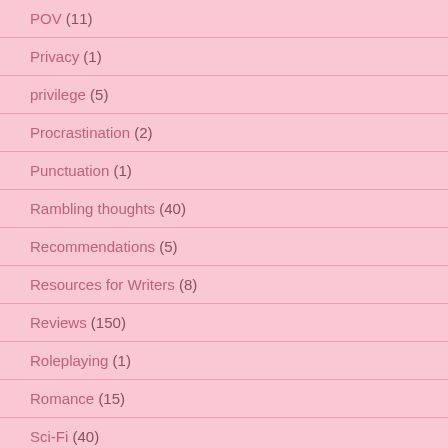POV (11)
Privacy (1)
privilege (5)
Procrastination (2)
Punctuation (1)
Rambling thoughts (40)
Recommendations (5)
Resources for Writers (8)
Reviews (150)
Roleplaying (1)
Romance (15)
Sci-Fi (40)
Sex Scenes (4)
Social media (4)
Sookie Stackhouse (5)